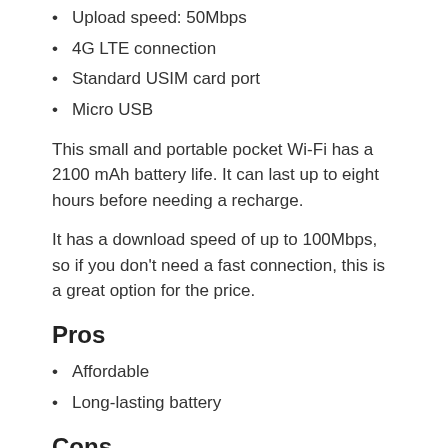Upload speed: 50Mbps
4G LTE connection
Standard USIM card port
Micro USB
This small and portable pocket Wi-Fi has a 2100 mAh battery life. It can last up to eight hours before needing a recharge.
It has a download speed of up to 100Mbps, so if you don't need a fast connection, this is a great option for the price.
Pros
Affordable
Long-lasting battery
Cons